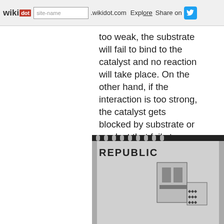wikidot | site-name .wikidot.com | Explore | Share on
too weak, the substrate will fail to bind to the catalyst and no reaction will take place. On the other hand, if the interaction is too strong, the catalyst gets blocked by substrate or product that fails to dissociate[4,10].
[Figure (photo): Partial view of a postage stamp showing 'REPUBLIC' text and machinery imagery in black and white]